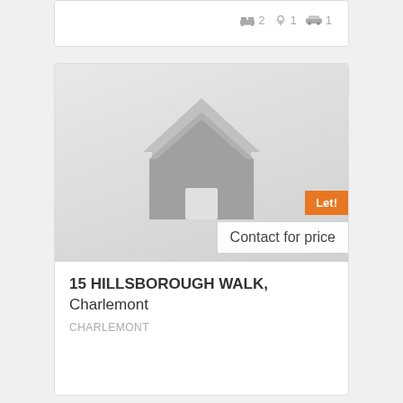[Figure (other): Top card fragment showing property amenity icons: bed=2, shower=1, car=1]
[Figure (illustration): Property listing card with placeholder house icon image, Let! badge, and Contact for price label]
15 HILLSBOROUGH WALK, Charlemont
CHARLEMONT